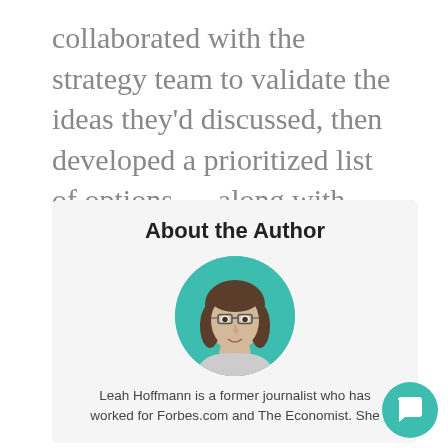collaborated with the strategy team to validate the ideas they'd discussed, then developed a prioritized list of options — along with business cases — for the client to execute on.
About the Author
[Figure (photo): Circular headshot photo of Leah Hoffmann on a teal/turquoise background circle, showing a woman with shoulder-length brown hair and glasses, smiling]
Leah Hoffmann is a former journalist who has worked for Forbes.com and The Economist. She